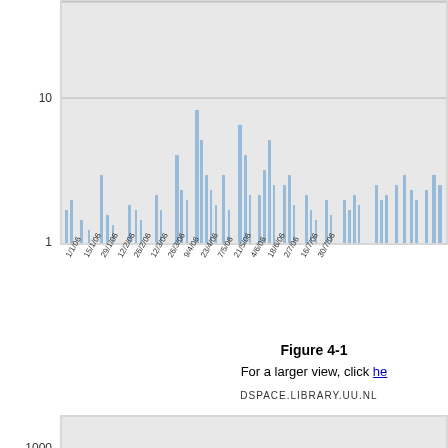[Figure (bar-chart): Bar chart with dates on x-axis (1/1/06 to 30/7/06), log scale y-axis showing values 1 and 10, light blue vertical bars on gray background]
Figure 4-1
For a larger view, click here
DSPACE.LIBRARY.UU.NL
[Figure (bar-chart): Bar chart with log scale y-axis showing values 10, 100, 1000, light blue vertical bars on gray background]